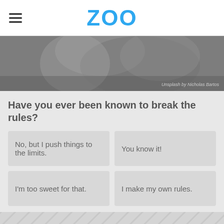ZOO
[Figure (photo): Grayscale hero image of a person, partially visible, with photo credit 'Unsplash by Nicholas Bartos']
Have you ever been known to break the rules?
No, but I push things to the limits.
You know it!
I'm too sweet for that.
I make my own rules.
Advertisement